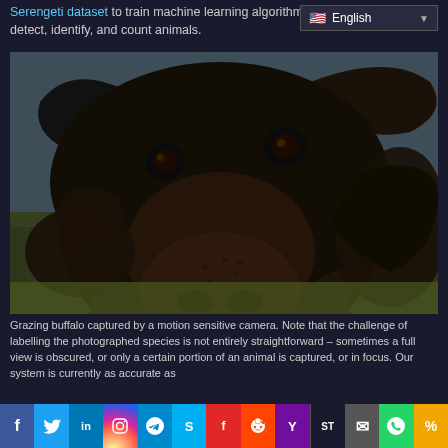Serengeti dataset to train machine learning algorithms to automatically detect, identify, and count animals.
[Figure (photo): Close-up photo of a grazing buffalo captured by a motion sensitive camera, with more buffalo visible in the background on a grassy plain.]
Grazing buffalo captured by a motion sensitive camera. Note that the challenge of labelling the photographed species is not entirely straightforward – sometimes a full view is obscured, or only a certain portion of an animal is captured, or in focus. Our system is currently as accurate as
Social sharing bar: Facebook, Twitter, LinkedIn, Instagram, Telegram, Skype, Flipboard, Reddit, Yahoo, ShareThis, Email, WhatsApp, More